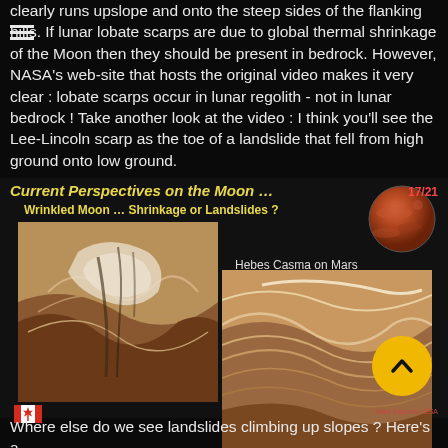clearly runs upslope and onto the steep sides of the flanking hills. If lunar lobate scarps are due to global thermal shrinkage of the Moon then they should be present in bedrock. However, NASA's web-site that hosts the original video makes it very clear : lobate scarps occur in lunar regolith - not in lunar bedrock ! Take another look at the video : I think you'll see the Lee-Lincoln scarp as the toe of a landslide that fell from high ground onto low ground.
Current Perspectives on the Moon …
Wrinkled Moon … Shrinkage or Landslides ?
[Figure (photo): Mars globe showing reddish planet surface]
[Figure (photo): Geological image showing layered rocky terrain with ridges and slopes]
Hebes Casma on Mars
[Figure (photo): Hebes Casma on Mars - layered rock formation with ridges]
Where else do we see landslides climbing up slopes ? Here's a